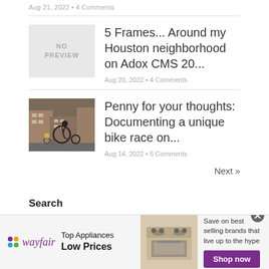Aug 21, 2022 • 4 Comments
5 Frames... Around my Houston neighborhood on Adox CMS 20...
Aug 20, 2022 • 4 Comments
[Figure (photo): No preview thumbnail placeholder (gray box with NO PREVIEW text)]
[Figure (photo): Photo of a person riding a tall penny-farthing bicycle on a city street with brick buildings in background]
Penny for your thoughts: Documenting a unique bike race on...
Aug 14, 2022 • 5 Comments
Next »
Search
[Figure (screenshot): Wayfair advertisement banner: Top Appliances Low Prices, Save on best selling brands that live up to the hype, Shop now button]